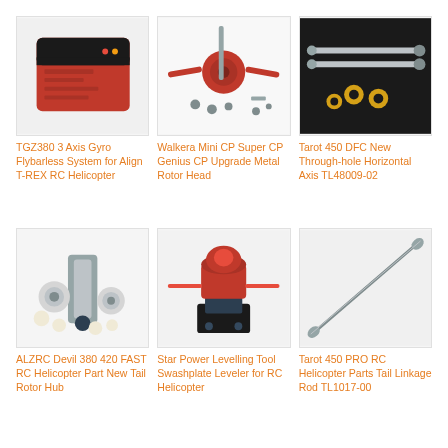[Figure (photo): TGZ380 3 Axis Gyro Flybarless System - red and black electronic device]
TGZ380 3 Axis Gyro Flybarless System for Align T-REX RC Helicopter
[Figure (photo): Walkera Mini CP Super CP Genius CP Upgrade Metal Rotor Head - red metal parts set]
Walkera Mini CP Super CP Genius CP Upgrade Metal Rotor Head
[Figure (photo): Tarot 450 DFC New Through-hole Horizontal Axis TL48009-02 - metal rods and small hardware]
Tarot 450 DFC New Through-hole Horizontal Axis TL48009-02
[Figure (photo): ALZRC Devil 380 420 FAST RC Helicopter Part New Tail Rotor Hub - metal parts and bearings]
ALZRC Devil 380 420 FAST RC Helicopter Part New Tail Rotor Hub
[Figure (photo): Star Power Levelling Tool Swashplate Leveler for RC Helicopter - red anodized tool]
Star Power Levelling Tool Swashplate Leveler for RC Helicopter
[Figure (photo): Tarot 450 PRO RC Helicopter Parts Tail Linkage Rod TL1017-00 - long thin metal rod]
Tarot 450 PRO RC Helicopter Parts Tail Linkage Rod TL1017-00